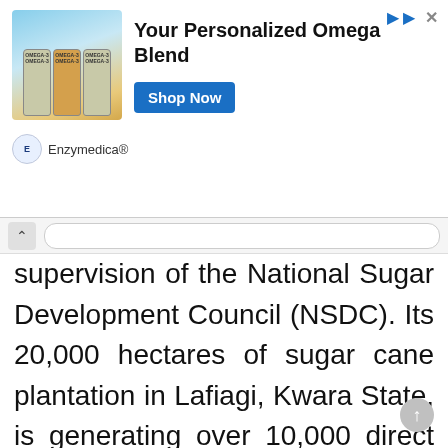[Figure (other): Advertisement banner for Enzymedica Personalized Omega Blend with product bottles image, 'Your Personalized Omega Blend' text, 'Shop Now' button, and Enzymedica brand logo.]
supervision of the National Sugar Development Council (NSDC). Its 20,000 hectares of sugar cane plantation in Lafiagi, Kwara State, is generating over 10,000 direct employment with capacity to add 200,000 metric tonnes of sugar into the economy as well as produce 20,000,000 litres of ethanol.